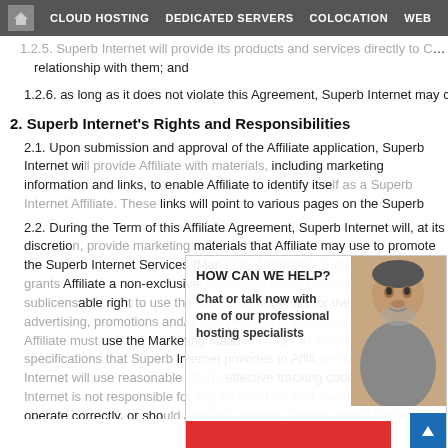CLOUD HOSTING   DEDICATED SERVERS   COLOCATION   WEB
1.2.5. Superb Internet will provide its products and services directly to Customer, relationship with them; and
1.2.6. as long as it does not violate this Agreement, Superb Internet may compete
2. Superb Internet's Rights and Responsibilities
2.1. Upon submission and approval of the Affiliate application, Superb Internet will provide Affiliate with materials, including marketing information and links, to enable Affiliate to identify itself as a Superb Internet Affiliate. These links will point to various pages on the Superb Internet website. While Superb Internet will endeavor to inform Affiliate of changes to these links, it is Affiliate's obligation to establish
2.2. During the Term of this Affiliate Agreement, Superb Internet will, at its discretion, provide marketing materials that Affiliate may use to promote the Superb Internet Services (Marketing Materials). Superb Internet grants Affiliate a non-exclusive, revocable, non-transferable, non-sublicensable right to use the Marketing Materials for the sole purpose of advertising, promotions and/or marketing of Superb Internet Services. Affiliate must use the Marketing Materials in accordance with Superb Internet guidelines and specifications that Superb Internet provides to Affiliate. While Superb Internet will use reasonable efforts to provide Affiliate with effective tracking codes, Superb Internet is not responsible for any Affiliate Failure if tracking codes fail to operate correctly, or should Affiliate's browser settings inhibit tracking, if data is not transmitted to Superb Internet. Affiliate agrees not to use any of the Marketing Materials, or make representations, warranties or other statements concerning Superb Internet or any of its other products, services or the company, except as set out in this Affiliate
[Figure (photo): Chat support overlay with photo of a support specialist, HOW CAN WE HELP? heading, and chat/call CTA]